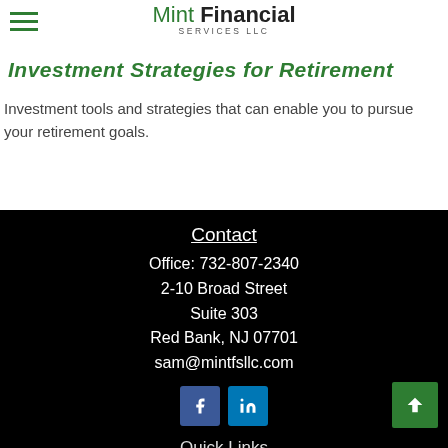Mint Financial Services LLC
Investment Strategies for Retirement
Investment tools and strategies that can enable you to pursue your retirement goals.
Contact
Office: 732-807-2340
2-10 Broad Street
Suite 303
Red Bank, NJ 07701
sam@mintfsllc.com
Quick Links